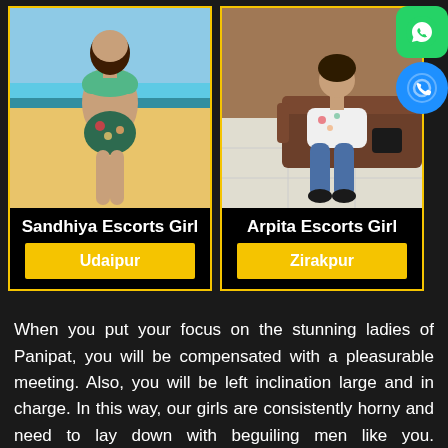[Figure (photo): Photo of Sandhiya Escorts Girl on a beach wearing a green bikini top and floral bottom]
Sandhiya Escorts Girl
Udaipur
[Figure (photo): Photo of Arpita Escorts Girl sitting on a sofa wearing jeans and a floral top]
Arpita Escorts Girl
Zirakpur
[Figure (logo): WhatsApp green icon]
[Figure (logo): Phone/call blue icon]
When you put your focus on the stunning ladies of Panipat, you will be compensated with a pleasurable meeting. Also, you will be left inclination large and in charge. In this way, our girls are consistently horny and need to lay down with beguiling men like you. Additionally, you can take as much time as necessary and